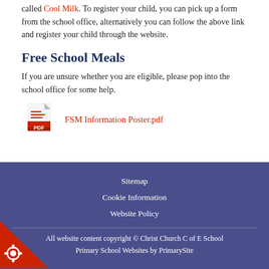called Cool Milk. To register your child, you can pick up a form from the school office, alternatively you can follow the above link and register your child through the website.
Free School Meals
If you are unsure whether you are eligible, please pop into the school office for some help.
[Figure (other): PDF file icon (red and white Adobe PDF icon)]
FSM Information Poster.pdf
Sitemap
Cookie Information
Website Policy
All website content copyright © Christ Church C of E School
Primary School Websites by PrimarySite